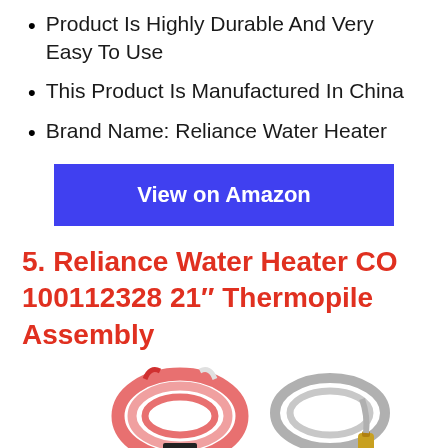Product Is Highly Durable And Very Easy To Use
This Product Is Manufactured In China
Brand Name: Reliance Water Heater
View on Amazon
5. Reliance Water Heater CO 100112328 21″ Thermopile Assembly
[Figure (photo): Two thermopile assembly components — left: a black connector with red and white wires coiled; right: a brass-tipped thermopile probe with silver braided cable]